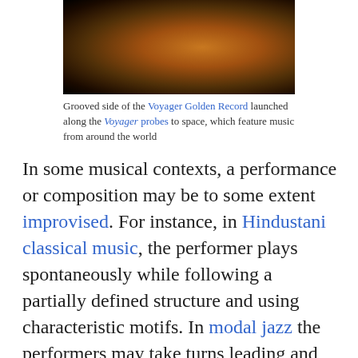[Figure (photo): Grooved side of the Voyager Golden Record — close-up showing gold/orange grooved surface against black background]
Grooved side of the Voyager Golden Record launched along the Voyager probes to space, which feature music from around the world
In some musical contexts, a performance or composition may be to some extent improvised. For instance, in Hindustani classical music, the performer plays spontaneously while following a partially defined structure and using characteristic motifs. In modal jazz the performers may take turns leading and responding, while sharing a changing set of notes. In a free jazz context, there may be no structure whatsoever, with each performer acting at their discretion. Music may be deliberately composed to be unperformable, or agglomerated electronically from many performances. Music is played in public and private areas, highlighted at